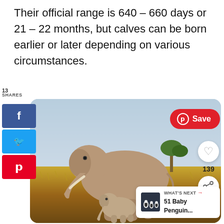Their official range is 640 – 660 days or 21 – 22 months, but calves can be born earlier or later depending on various circumstances.
13 SHARES
[Figure (photo): Photo of a mother elephant and baby elephant calf standing in African savanna grassland with a tree and blue sky in the background. Social media sharing interface overlaid with Facebook, Twitter, Pinterest buttons on the left, a red Pinterest Save button top right, heart/like button, count 139, share button, and a 'What's Next' panel showing '51 Baby Penguin...' bottom right.]